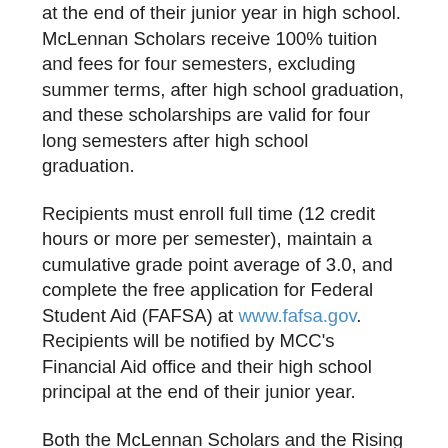at the end of their junior year in high school. McLennan Scholars receive 100% tuition and fees for four semesters, excluding summer terms, after high school graduation, and these scholarships are valid for four long semesters after high school graduation.
Recipients must enroll full time (12 credit hours or more per semester), maintain a cumulative grade point average of 3.0, and complete the free application for Federal Student Aid (FAFSA) at www.fafsa.gov. Recipients will be notified by MCC's Financial Aid office and their high school principal at the end of their junior year.
Both the McLennan Scholars and the Rising Star Scholarship programs are also available to five home schooled students in McLennan County. These students must complete the McLennan Community College Foundation scholarship application and indicate their interest in the home...